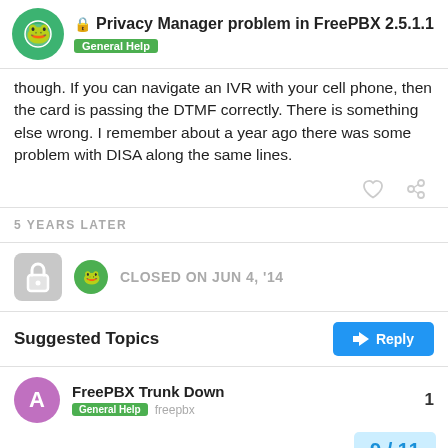Privacy Manager problem in FreePBX 2.5.1.1 — General Help
though. If you can navigate an IVR with your cell phone, then the card is passing the DTMF correctly. There is something else wrong. I remember about a year ago there was some problem with DISA along the same lines.
5 YEARS LATER
CLOSED ON JUN 4, '14
Suggested Topics
FreePBX Trunk Down — General Help  freepbx — 1
9 / 11